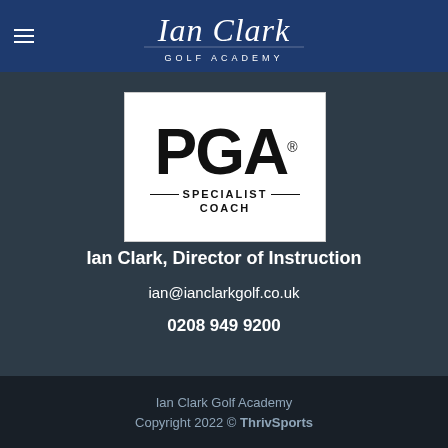[Figure (logo): Ian Clark Golf Academy logo with cursive script on dark blue header background]
[Figure (logo): PGA Specialist Coach badge — white rectangle with large bold PGA text and registered trademark symbol, decorative lines, and text reading SPECIALIST COACH]
Ian Clark, Director of Instruction
ian@ianclarkgolf.co.uk
0208 949 9200
Ian Clark Golf Academy
Copyright 2022 © ThrivSports